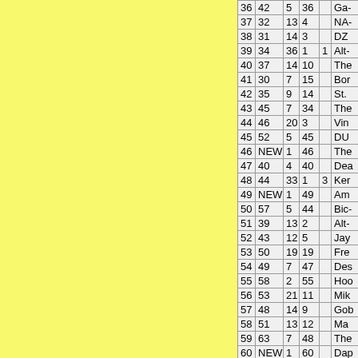| # | Prev | Wks | Pk |  | Title |
| --- | --- | --- | --- | --- | --- |
| 36 | 42 | 5 | 36 |  | Ga... |
| 37 | 32 | 13 | 4 |  | NA... |
| 38 | 31 | 14 | 3 |  | DZ... |
| 39 | 34 | 36 | 1 | 1 | Alt-... |
| 40 | 37 | 14 | 10 |  | The... |
| 41 | 30 | 7 | 15 |  | Bor... |
| 42 | 35 | 9 | 14 |  | St.... |
| 43 | 45 | 7 | 34 |  | The... |
| 44 | 46 | 20 | 3 |  | Vin... |
| 45 | 52 | 5 | 45 |  | DU... |
| 46 | NEW | 1 | 46 |  | The... |
| 47 | 40 | 4 | 40 |  | Dea... |
| 48 | 44 | 33 | 1 | 3 | Ker... |
| 49 | NEW | 1 | 49 |  | Am... |
| 50 | 57 | 5 | 44 |  | Bic... |
| 51 | 39 | 13 | 2 |  | Alt-... |
| 52 | 43 | 12 | 5 |  | Jay... |
| 53 | 50 | 19 | 19 |  | Fre... |
| 54 | 49 | 7 | 47 |  | Des... |
| 55 | 58 | 2 | 55 |  | Hoo... |
| 56 | 53 | 21 | 11 |  | Mik... |
| 57 | 48 | 14 | 9 |  | Gob... |
| 58 | 51 | 13 | 12 |  | Ma... |
| 59 | 63 | 7 | 48 |  | The... |
| 60 | NEW | 1 | 60 |  | Dap... |
| 61 | 54 | 4 | 47 |  | Sle... |
| 62 | 56 | 32 | 3 |  | Littl... |
| 63 | 55 | 10 | 20 |  | The... |
| 64 | 59 | 3 | 59 |  | Dur... |
| 65 | 61 | 18 | 17 |  | Jay... |